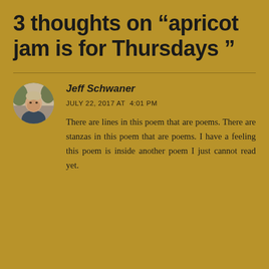3 thoughts on “apricot jam is for Thursdays ”
[Figure (photo): Circular avatar photo of Jeff Schwaner, a man with short hair outdoors]
Jeff Schwaner
JULY 22, 2017 AT  4:01 PM
There are lines in this poem that are poems. There are stanzas in this poem that are poems. I have a feeling this poem is inside another poem I just cannot read yet.